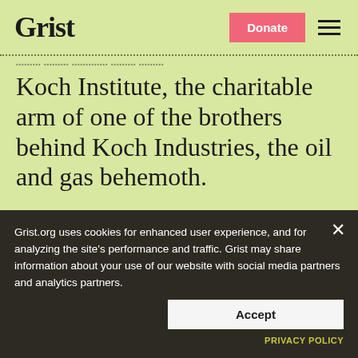Grist | Donate
Koch Institute, the charitable arm of one of the brothers behind Koch Industries, the oil and gas behemoth.
[Figure (screenshot): Southern Environmental Law Center (SELC) advertisement banner with orange background and logo, partially visible]
Grist.org uses cookies for enhanced user experience, and for analyzing the site's performance and traffic. Grist may share information about your use of our website with social media partners and analytics partners.